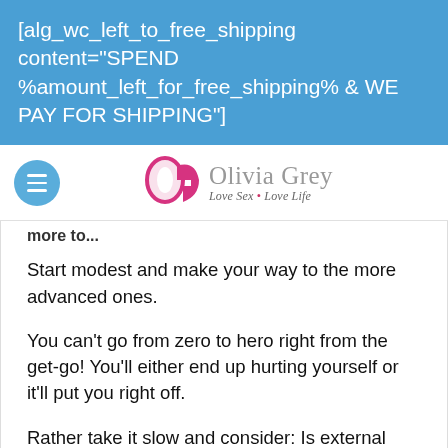[alg_wc_left_to_free_shipping content="SPEND %amount_left_for_free_shipping% & WE PAY FOR SHIPPING"]
[Figure (logo): Olivia Grey logo with tagline 'Love Sex • Love Life' and stylized OG monogram in pink/magenta]
more to...
Start modest and make your way to the more advanced ones.
You can't go from zero to hero right from the get-go! You'll either end up hurting yourself or it'll put you right off.
Rather take it slow and consider: Is external stimulation or penetration, or